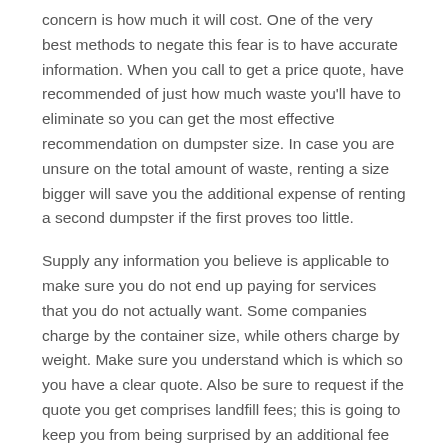concern is how much it will cost. One of the very best methods to negate this fear is to have accurate information. When you call to get a price quote, have recommended of just how much waste you'll have to eliminate so you can get the most effective recommendation on dumpster size. In case you are unsure on the total amount of waste, renting a size bigger will save you the additional expense of renting a second dumpster if the first proves too little.
Supply any information you believe is applicable to make sure you do not end up paying for services that you do not actually want. Some companies charge by the container size, while others charge by weight. Make sure you understand which is which so you have a clear quote. Also be sure to request if the quote you get comprises landfill fees; this is going to keep you from being surprised by an additional fee later.
What Size Dumpster Should I Get for a Residential Clean Out in Someone?